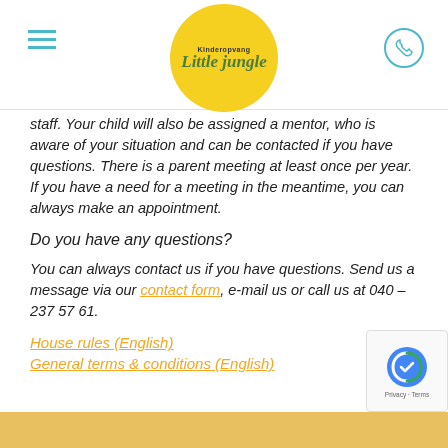Kinderopvang Little Jungle
staff. Your child will also be assigned a mentor, who is aware of your situation and can be contacted if you have questions. There is a parent meeting at least once per year. If you have a need for a meeting in the meantime, you can always make an appointment.
Do you have any questions?
You can always contact us if you have questions. Send us a message via our contact form, e-mail us or call us at 040 – 237 57 61.
House rules (English)
General terms & conditions (English)